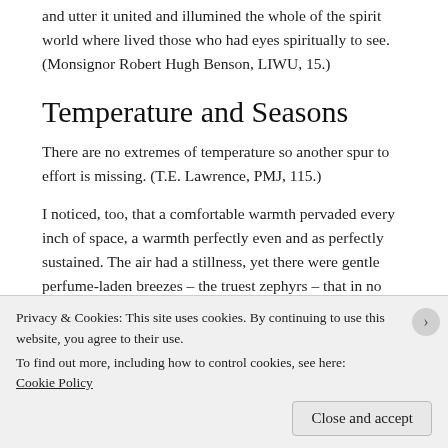and utter it united and illumined the whole of the spirit world where lived those who had eyes spiritually to see. (Monsignor Robert Hugh Benson, LIWU, 15.)
Temperature and Seasons
There are no extremes of temperature so another spur to effort is missing. (T.E. Lawrence, PMJ, 115.)
I noticed, too, that a comfortable warmth pervaded every inch of space, a warmth perfectly even and as perfectly sustained. The air had a stillness, yet there were gentle perfume-laden breezes – the truest zephyrs – that in no way altered the delightful balminess of the temperature. (Monsignor Robert Hugh Benson, LIWU,
Privacy & Cookies: This site uses cookies. By continuing to use this website, you agree to their use.
To find out more, including how to control cookies, see here: Cookie Policy
Close and accept